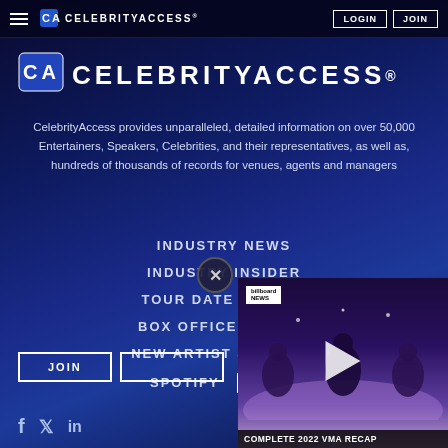CELEBRITYACCESS. LOGIN JOIN
CELEBRITYACCESS®
CelebrityAccess provides unparalleled, detailed information on over 50,000 Entertainers, Speakers, Celebrities, and their representatives, as well as, hundreds of thousands of records for venues, agents and managers
INDUSTRY NEWS
INDUSTRY INSIDER
TOUR DATE SEARCH
BOX OFFICE SCORES
NEW ARTIST SIGNINGS
SPOTIFY
[Figure (screenshot): Video player overlay showing performers on stage with purple smoke/lights, Billboard News badge, play button, and caption COMPLETE 2022 VMA RECAP]
COMPLETE 2022 VMA RECAP